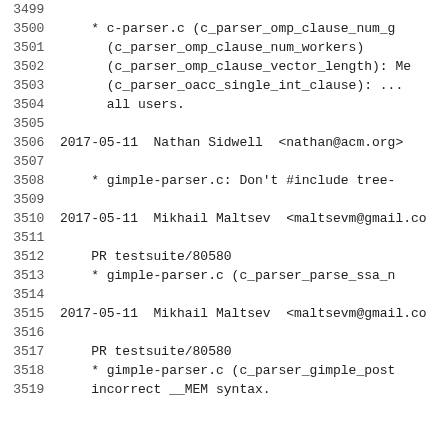3499
3500     * c-parser.c (c_parser_omp_clause_num_g
3501       (c_parser_omp_clause_num_workers)
3502       (c_parser_omp_clause_vector_length): Me
3503       (c_parser_oacc_single_int_clause): ...
3504       all users.
3505
3506  2017-05-11  Nathan Sidwell  <nathan@acm.org>
3507
3508       * gimple-parser.c: Don't #include tree-
3509
3510  2017-05-11  Mikhail Maltsev  <maltsevm@gmail.co
3511
3512       PR testsuite/80580
3513       * gimple-parser.c (c_parser_parse_ssa_n
3514
3515  2017-05-11  Mikhail Maltsev  <maltsevm@gmail.co
3516
3517       PR testsuite/80580
3518       * gimple-parser.c (c_parser_gimple_post
3519       incorrect __MEM syntax.